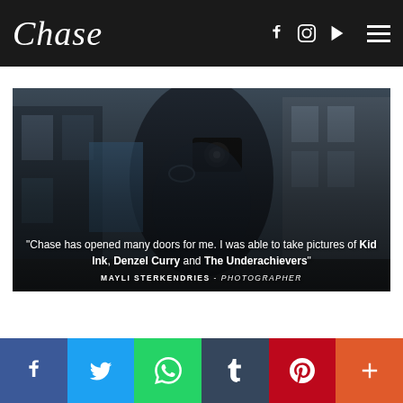Chase
[Figure (photo): Woman holding a DSLR camera up to her face, taking a self-portrait in a mirror on a city street. She wears glasses and a leather jacket. Urban background visible.]
"Chase has opened many doors for me. I was able to take pictures of Kid Ink, Denzel Curry and The Underachievers"
MAYLI STERKENDRIES - PHOTOGRAPHER
Facebook Twitter WhatsApp Tumblr Pinterest More